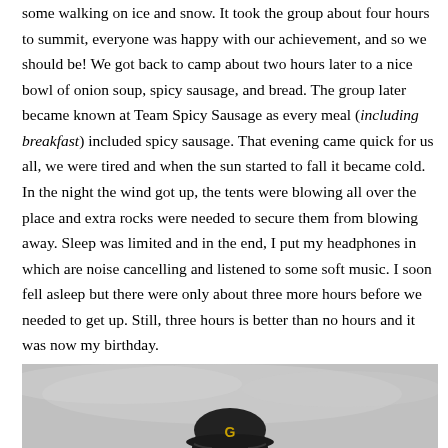some walking on ice and snow. It took the group about four hours to summit, everyone was happy with our achievement, and so we should be! We got back to camp about two hours later to a nice bowl of onion soup, spicy sausage, and bread. The group later became known at Team Spicy Sausage as every meal (including breakfast) included spicy sausage. That evening came quick for us all, we were tired and when the sun started to fall it became cold. In the night the wind got up, the tents were blowing all over the place and extra rocks were needed to secure them from blowing away. Sleep was limited and in the end, I put my headphones in which are noise cancelling and listened to some soft music. I soon fell asleep but there were only about three more hours before we needed to get up. Still, three hours is better than no hours and it was now my birthday.
[Figure (photo): A photograph showing a person wearing a dark helmet with a 'G' logo, against a grey overcast sky background. Only the top of the helmet and possibly the person's upper body are visible at the bottom of the image.]